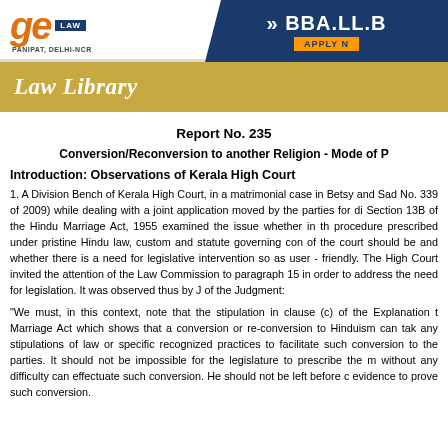[Figure (logo): GE Institute of Law logo with text LAW, PANIPAT DELHI-NCR and BBA.LL.B APPLY NOW banner in dark blue]
Law Library
Report No. 235
Conversion/Reconversion to another Religion - Mode of P...
Introduction: Observations of Kerala High Court
1. A Division Bench of Kerala High Court, in a matrimonial case in Betsy and Sad... No. 339 of 2009) while dealing with a joint application moved by the parties for di... Section 13B of the Hindu Marriage Act, 1955 examined the issue whether in th... procedure prescribed under pristine Hindu law, custom and statute governing con... of the court should be and whether there is a need for legislative intervention so as... user - friendly. The High Court invited the attention of the Law Commission to... paragraph 15 in order to address the need for legislation. It was observed thus by J... of the Judgment:
"We must, in this context, note that the stipulation in clause (c) of the Explanation t... Marriage Act which shows that a conversion or re-conversion to Hinduism can tak... any stipulations of law or specific recognized practices to facilitate such conversion... to the parties. It should not be impossible for the legislature to prescribe the m... without any difficulty can effectuate such conversion. He should not be left before c... evidence to prove such conversion.